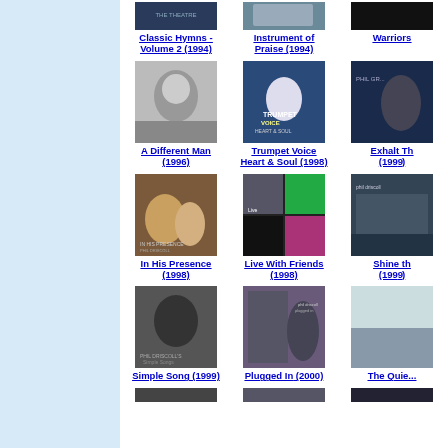[Figure (photo): Sidebar with light blue background]
[Figure (photo): Album cover - Classic Hymns Volume 2]
Classic Hymns - Volume 2 (1994)
[Figure (photo): Album cover - Instrument of Praise]
Instrument of Praise (1994)
[Figure (photo): Album cover - Warriors (partial)]
Warriors (partial)
[Figure (photo): Album cover - A Different Man]
A Different Man (1996)
[Figure (photo): Album cover - Trumpet Voice Heart & Soul]
Trumpet Voice Heart & Soul (1998)
[Figure (photo): Album cover - Exhalt Th... (1999, partial)]
Exhalt Th (1999)
[Figure (photo): Album cover - In His Presence]
In His Presence (1998)
[Figure (photo): Album cover - Live With Friends]
Live With Friends (1998)
[Figure (photo): Album cover - Shine th... (1999, partial)]
Shine th (1999)
[Figure (photo): Album cover - Simple Song]
Simple Song (1999)
[Figure (photo): Album cover - Plugged In]
Plugged In (2000)
[Figure (photo): Album cover - The Quie... (partial)]
The Quie... (partial)